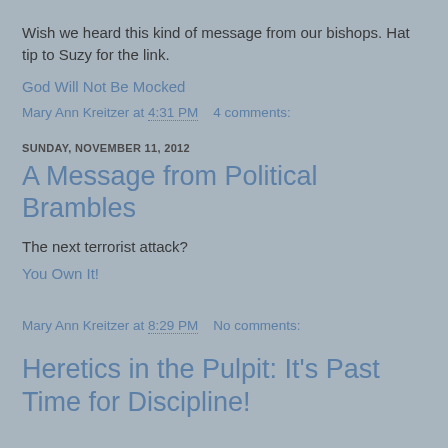Wish we heard this kind of message from our bishops. Hat tip to Suzy for the link.
God Will Not Be Mocked
Mary Ann Kreitzer at 4:31 PM   4 comments:
SUNDAY, NOVEMBER 11, 2012
A Message from Political Brambles
The next terrorist attack?
You Own It!
Mary Ann Kreitzer at 8:29 PM   No comments:
Heretics in the Pulpit: It's Past Time for Discipline!